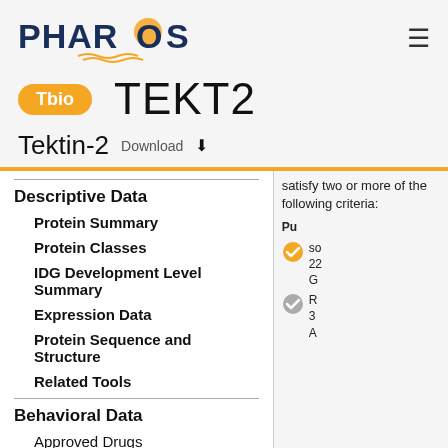PHAROS
TEKT2
Tbio  Tektin-2  Download
Descriptive Data
Protein Summary
Protein Classes
IDG Development Level Summary
Expression Data
Protein Sequence and Structure
Related Tools
Behavioral Data
Approved Drugs
satisfy two or more of the following criteria
Pu so 22 G R 3 A